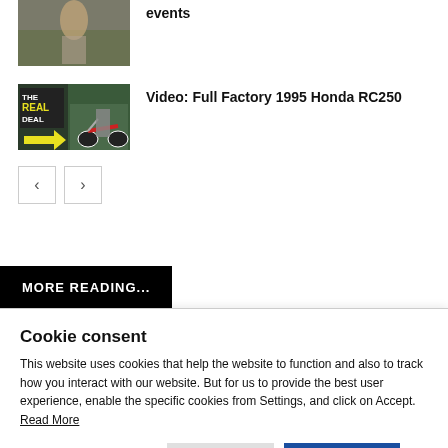[Figure (photo): Thumbnail photo of a motocross rider in a field]
events
[Figure (photo): Thumbnail image with text 'THE REAL DEAL' overlay and a yellow arrow, showing a man next to a Honda RC250 motocross bike]
Video: Full Factory 1995 Honda RC250
< >
MORE READING...
Cookie consent
This website uses cookies that help the website to function and also to track how you interact with our website. But for us to provide the best user experience, enable the specific cookies from Settings, and click on Accept. Read More
Preferences
Reject All
Accept All